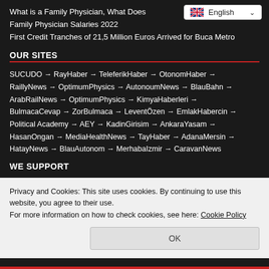What is a Family Physician, What Does
Family Physician Salaries 2022
First Credit Tranches of 21,5 Million Euros Arrived for Buca Metro
OUR SITES
SUCUDO → RayHaber → TeleferikHaber → OtonomHaber → RaillyNews → OptimumPhysics → AutonoumNews → BlauBahn → ArabRailNews → OptimumPhysics → KimyaHaberleri → BulmacaCevap → ZorBulmaca → LeventÖzen → EmlakHabercin → Political Academy → AEY → KadinGirisim → AnkaraYasam → HasanOngan → MediaHealthNews → TayHaber → AdanaMersin → HatayNews → BlauAutonom → MerhabaIzmir → CaravanNews
WE SUPPORT
Privacy and Cookies: This site uses cookies. By continuing to use this website, you agree to their use.
For more information on how to check cookies, see here: Cookie Policy